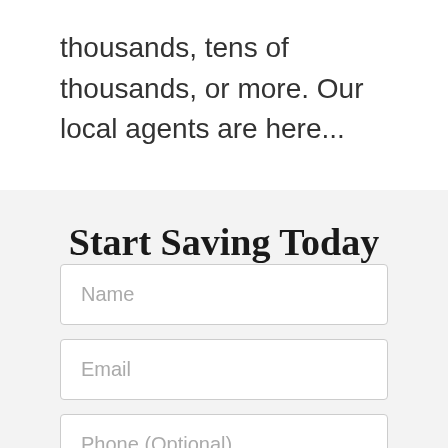thousands, tens of thousands, or more. Our local agents are here...
Start Saving Today
Name
Email
Phone (Optional)